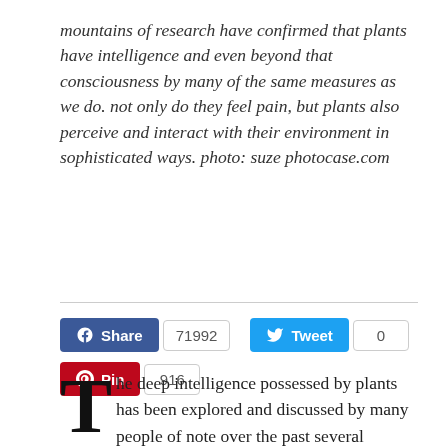mountains of research have confirmed that plants have intelligence and even beyond that consciousness by many of the same measures as we do. not only do they feel pain, but plants also perceive and interact with their environment in sophisticated ways. photo: suze photocase.com
[Figure (other): Social sharing buttons: Facebook Share (71992), Twitter Tweet (0), Pinterest Pin (916)]
The deep intelligence possessed by plants has been explored and discussed by many people of note over the past several centuries, including Goethe, Luther Burbank,